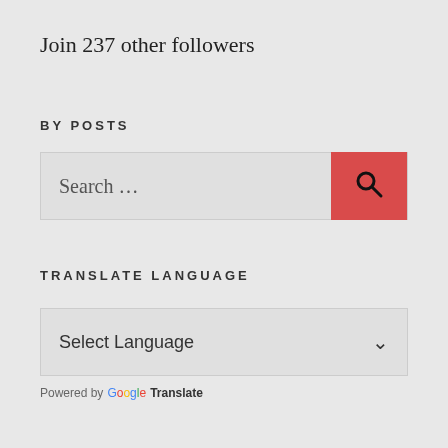Join 237 other followers
BY POSTS
[Figure (other): Search input box with placeholder text 'Search ...' and a red search button with magnifying glass icon]
TRANSLATE LANGUAGE
[Figure (other): Language select dropdown box with 'Select Language' placeholder and chevron arrow]
Powered by Google Translate